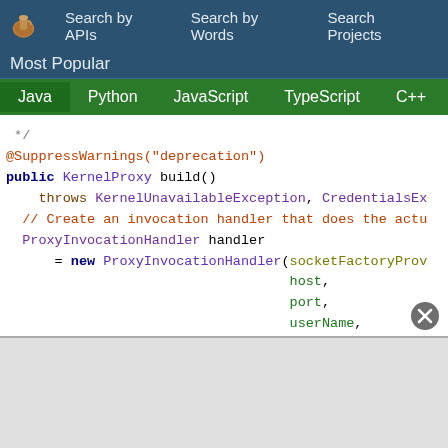Search by APIs   Search by Words   Search Projects
Most Popular
Java  Python  JavaScript  TypeScript  C++  Scala
*/
@SuppressWarnings("deprecation")
public KernelProxy build()
    throws KernelUnavailableException, CredentialsEx
  // Create an invocation handler that does the actu
  ProxyInvocationHandler handler
      = new ProxyInvocationHandler(socketFactoryProv
                                   host,
                                   port,
                                   userName,
                                   password,
                                   eventFilter,
                                   eventPollInterval
                                   eventPollTimeout)